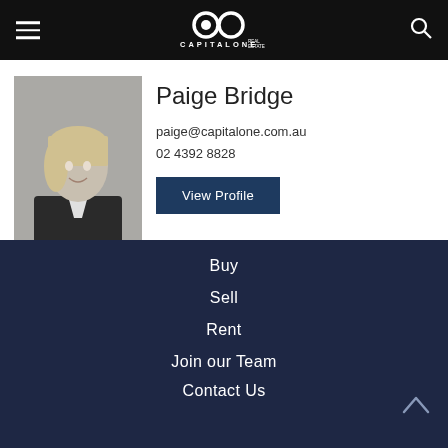Capital One Real Estate — navigation header
Paige Bridge
paige@capitalone.com.au
02 4392 8828
View Profile
Buy
Sell
Rent
Join our Team
Contact Us